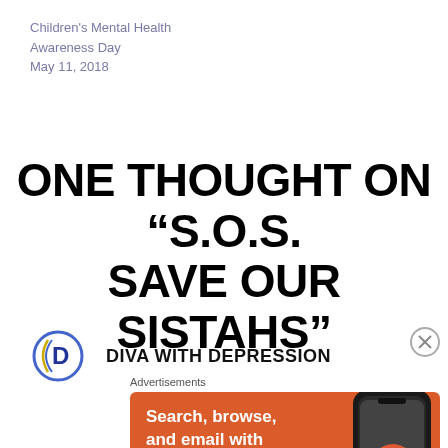Children's Mental Health Awareness Day
May 11, 2018
ONE THOUGHT ON “S.O.S. SAVE OUR SISTAHS”
DIVA WITH DEPRESSION
[Figure (logo): Circular logo with stylized letter D]
[Figure (screenshot): DuckDuckGo advertisement banner: Search, browse, and email with more privacy. All in One Free App. Shows a phone with DuckDuckGo app.]